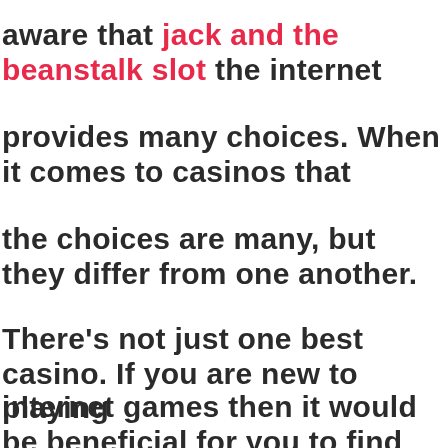aware that jack and the beanstalk slot the internet provides many choices. When it comes to casinos that the choices are many, but they differ from one another. There's not just one best casino. If you are new to playing internet games then it would be beneficial for you to find out more about the benefits and pitfalls of each sport. To